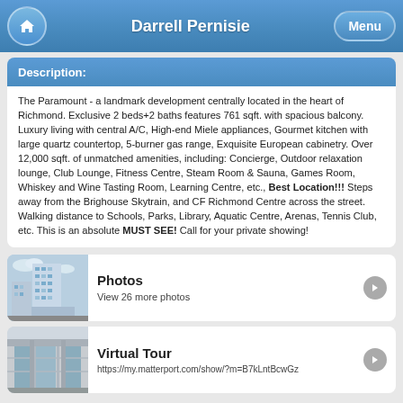Darrell Pernisie
Description:
The Paramount - a landmark development centrally located in the heart of Richmond. Exclusive 2 beds+2 baths features 761 sqft. with spacious balcony. Luxury living with central A/C, High-end Miele appliances, Gourmet kitchen with large quartz countertop, 5-burner gas range, Exquisite European cabinetry. Over 12,000 sqft. of unmatched amenities, including: Concierge, Outdoor relaxation lounge, Club Lounge, Fitness Centre, Steam Room & Sauna, Games Room, Whiskey and Wine Tasting Room, Learning Centre, etc., Best Location!!! Steps away from the Brighouse Skytrain, and CF Richmond Centre across the street. Walking distance to Schools, Parks, Library, Aquatic Centre, Arenas, Tennis Club, etc. This is an absolute MUST SEE! Call for your private showing!
[Figure (photo): Exterior photo of The Paramount condominium building]
Photos
View 26 more photos
[Figure (photo): Exterior entrance photo of the building]
Virtual Tour
https://my.matterport.com/show/?m=B7kLntBcwGz